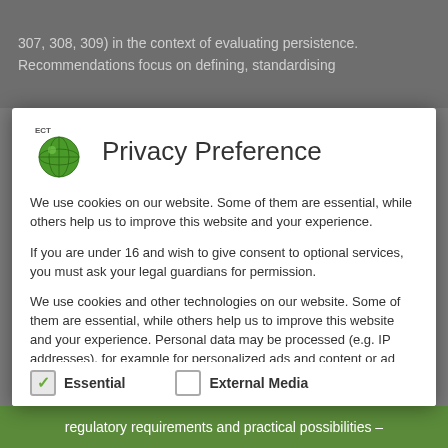307, 308, 309) in the context of evaluating persistence.
Recommendations focus on defining, standardising
Privacy Preference
We use cookies on our website. Some of them are essential, while others help us to improve this website and your experience.
If you are under 16 and wish to give consent to optional services, you must ask your legal guardians for permission.
We use cookies and other technologies on our website. Some of them are essential, while others help us to improve this website and your experience. Personal data may be processed (e.g. IP addresses), for example for personalized ads and content or ad and content measurement. You can find more information about the use of your data in our
Essential   External Media
regulatory requirements and practical possibilities –